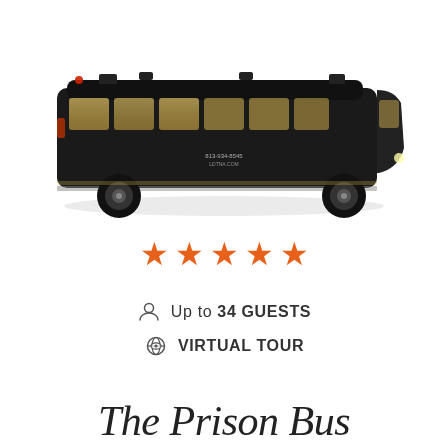[Figure (photo): Side view of a dark/black party bus (prison bus) photographed at night, with illuminated windows and exterior lighting, parked on a road with foliage visible in reflection]
★★★★★ (5 stars)
Up to 34 GUESTS
VIRTUAL TOUR
The Prison Bus